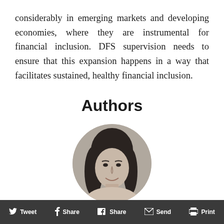considerably in emerging markets and developing economies, where they are instrumental for financial inclusion. DFS supervision needs to ensure that this expansion happens in a way that facilitates sustained, healthy financial inclusion.
Authors
[Figure (photo): Black and white circular headshot photo of a woman with long dark hair, smiling]
Denise Dias
Tweet   Share   Share   Send   Print